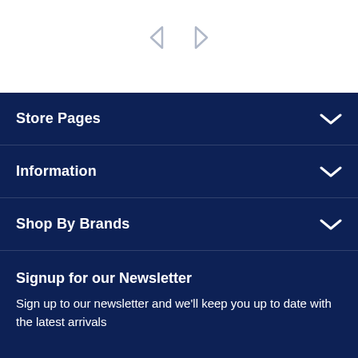[Figure (other): Navigation arrows (left and right chevron icons) on white background]
Store Pages
Information
Shop By Brands
Signup for our Newsletter
Sign up to our newsletter and we'll keep you up to date with the latest arrivals